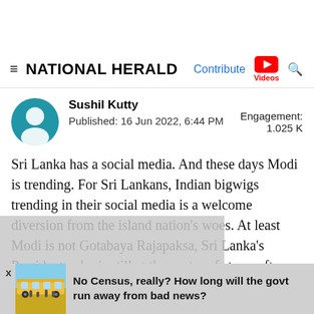NATIONAL HERALD — Contribute | Videos
Sushil Kutty
Published: 16 Jun 2022, 6:44 PM
Engagement: 1.025 K
Sri Lanka has a social media. And these days Modi is trending. For Sri Lankans, Indian bigwigs trending in their social media is a welcome diversion from the island nation's woes. At least Modi is not Gotabaya Rajapaksa, Sri Lanka's President, who is still at the centre of storm after th... r. The island na... mbered
No Census, really? How long will the govt run away from bad news?